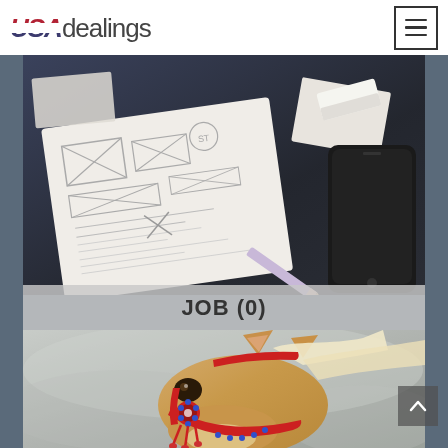USAdealings — navigation header with menu button
[Figure (photo): Overhead view of design wireframe sketches on paper, pencil, eraser, and a smartphone on a dark desk surface]
JOB (0)
[Figure (photo): Close-up of a blonde horse wearing a red decorative beaded bridle, with blurred wintry background]